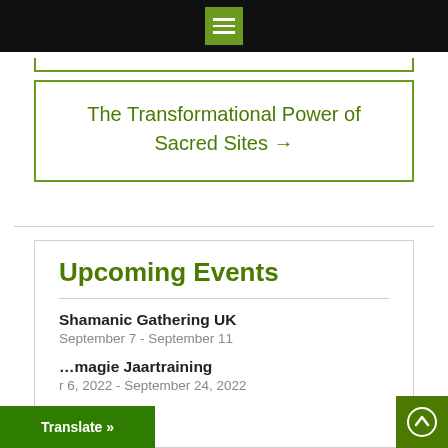[Figure (screenshot): Black top navigation bar with a green hamburger menu icon centered]
The Transformational Power of Sacred Sites →
Upcoming Events
Shamanic Gathering UK
September 7 - September 11
…magie Jaartraining
r 6, 2022 - September 24, 2022
Translate »